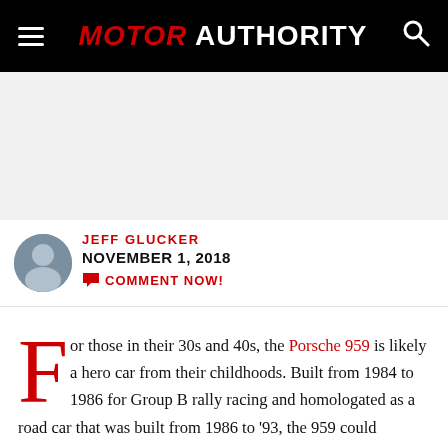MOTOR AUTHORITY
[Figure (other): Advertisement / blank gray space placeholder]
JEFF GLUCKER
NOVEMBER 1, 2018
COMMENT NOW!
For those in their 30s and 40s, the Porsche 959 is likely a hero car from their childhoods. Built from 1984 to 1986 for Group B rally racing and homologated as a road car that was built from 1986 to '93, the 959 could approach 200 mph on the street and reach 170 mph off road